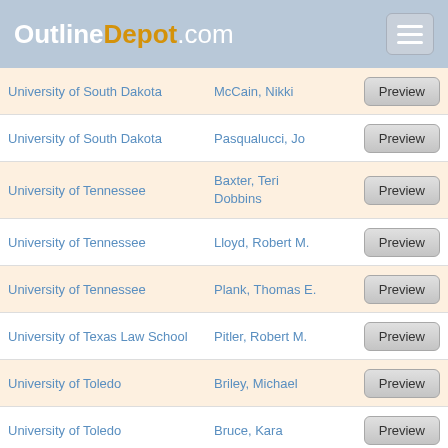OutlinDepot.com
University of South Dakota | McCain, Nikki | Preview
University of South Dakota | Pasqualucci, Jo | Preview
University of Tennessee | Baxter, Teri Dobbins | Preview
University of Tennessee | Lloyd, Robert M. | Preview
University of Tennessee | Plank, Thomas E. | Preview
University of Texas Law School | Pitler, Robert M. | Preview
University of Toledo | Briley, Michael | Preview
University of Toledo | Bruce, Kara | Preview
University of Toledo | Bruce, Kara | Preview
University of Toledo | Bruce, Kara | Preview